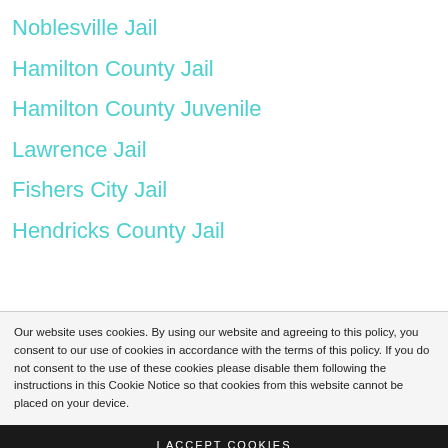Noblesville Jail
Hamilton County Jail
Hamilton County Juvenile
Lawrence Jail
Fishers City Jail
Hendricks County Jail
Our website uses cookies. By using our website and agreeing to this policy, you consent to our use of cookies in accordance with the terms of this policy. If you do not consent to the use of these cookies please disable them following the instructions in this Cookie Notice so that cookies from this website cannot be placed on your device.
I ACCEPT COOKIES